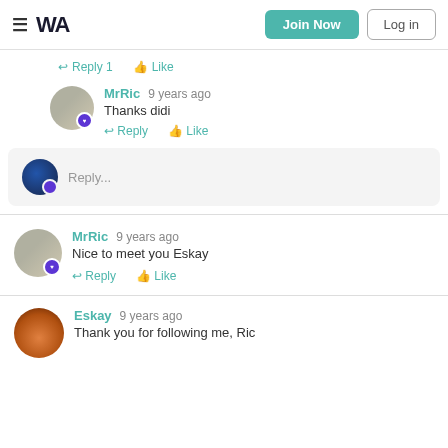WA — Join Now | Log in
Reply 1  Like
MrRic  9 years ago
Thanks didi
Reply  Like
Reply...
MrRic  9 years ago
Nice to meet you Eskay
Reply  Like
Eskay  9 years ago
Thank you for following me, Ric